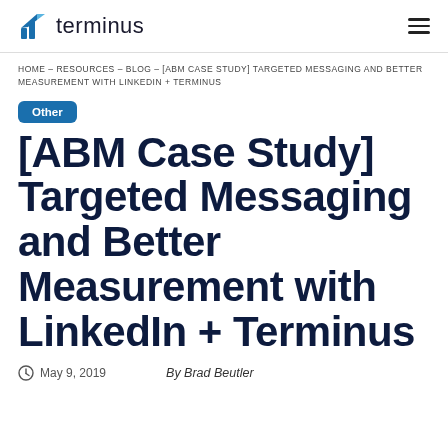terminus
HOME – RESOURCES – BLOG – [ABM CASE STUDY] TARGETED MESSAGING AND BETTER MEASUREMENT WITH LINKEDIN + TERMINUS
Other
[ABM Case Study] Targeted Messaging and Better Measurement with LinkedIn + Terminus
May 9, 2019  By Brad Beutler